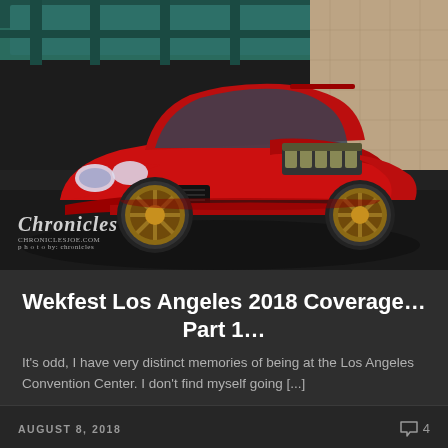[Figure (photo): A red modified Acura Integra with gold/bronze wheels and an open hood showing the engine, parked inside what appears to be a convention center or parking structure with a teal/green ceiling structure and concrete block walls in the background. Watermark reads 'Chronicles' with website URL.]
Wekfest Los Angeles 2018 Coverage… Part 1…
It's odd, I have very distinct memories of being at the Los Angeles Convention Center. I don't find myself going [...]
AUGUST 8, 2018   4